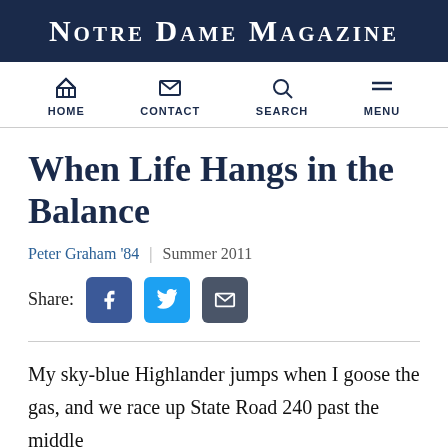Notre Dame Magazine
HOME | CONTACT | SEARCH | MENU
When Life Hangs in the Balance
Peter Graham '84  |  Summer 2011
Share: [Facebook] [Twitter] [Email]
My sky-blue Highlander jumps when I goose the gas, and we race up State Road 240 past the middle